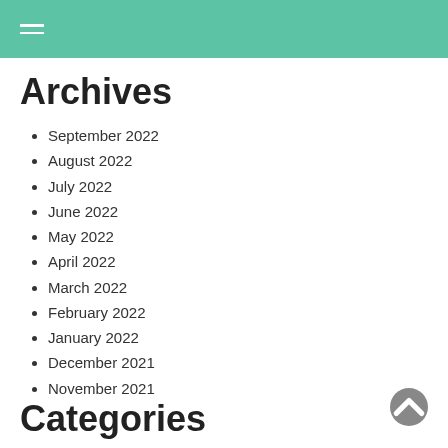Archives
September 2022
August 2022
July 2022
June 2022
May 2022
April 2022
March 2022
February 2022
January 2022
December 2021
November 2021
Categories